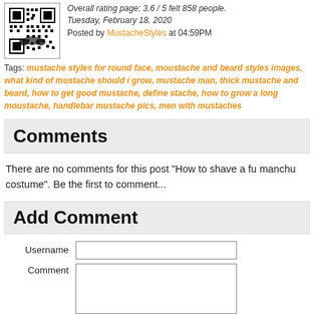Overall rating page: 3.6 / 5 felt 858 people.
Tuesday, February 18, 2020
Posted by MustacheStyles at 04:59PM
Tags: mustache styles for round face, moustache and beard styles images, what kind of mustache should i grow, mustache man, thick mustache and beard, how to get good mustache, define stache, how to grow a long moustache, handlebar mustache pics, men with mustaches
Comments
There are no comments for this post "How to shave a fu manchu costume". Be the first to comment...
Add Comment
Username
Comment